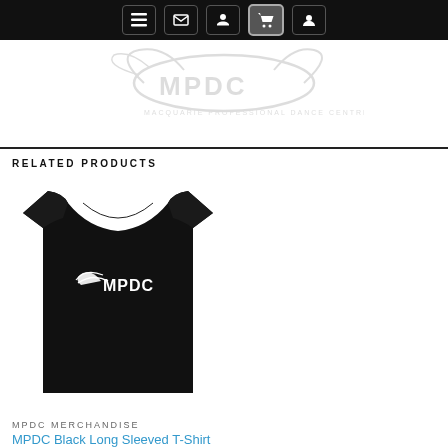Navigation bar with menu, email, phone, cart, and account icons
[Figure (logo): MPDC (Macquarie Professional Dance Centre) logo — light grey watermark showing a stylized fish/dancer with wings and the text MPDC and MACQUARIE PROFESSIONAL DANCE CENTRE]
RELATED PRODUCTS
[Figure (photo): Black long-sleeved women's fitted T-shirt with MPDC logo in white on the chest]
MPDC MERCHANDISE
MPDC Black Long Sleeved T-Shirt
$40.00